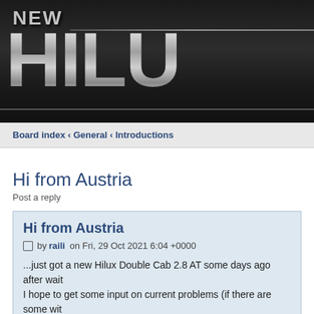[Figure (screenshot): New Hilux forum website header banner with metallic silver text 'NEW HILU' on dark background]
Board index ‹ General ‹ Introductions
Hi from Austria
Post a reply
Hi from Austria
by raili on Fri, 29 Oct 2021 6:04 +0000
...just got a new Hilux Double Cab 2.8 AT some days ago after wait. I hope to get some input on current problems (if there are some wit. answer questions as well.
😁
Cheers